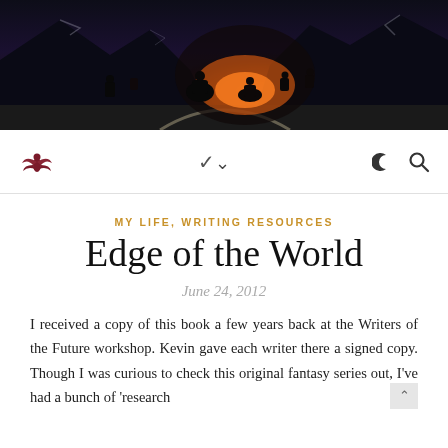[Figure (illustration): Dark fantasy banner image showing armored warriors/soldiers on horseback crossing a snowy mountain pass, with orange fire/light glowing in the background cave or valley]
Navigation bar with logo (winged figure icon), chevron/dropdown icon, moon icon, and search icon
MY LIFE, WRITING RESOURCES
Edge of the World
June 24, 2012
I received a copy of this book a few years back at the Writers of the Future workshop. Kevin gave each writer there a signed copy. Though I was curious to check this original fantasy series out, I've had a bunch of 'research writing' to finish on the quest for new content to share...